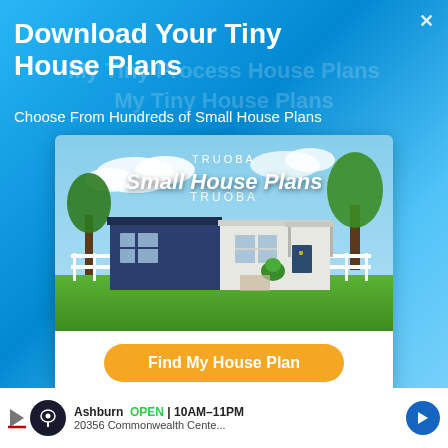Download Your Tiny House Plans
Choose From Hundreds of Small House Plans
[Figure (photo): TRUOBA Small House Plans advertisement showing a modern small house with blue and white exterior, green lawn, trees, and a yellow 'Find My House Plan' button below the house image.]
Find My House Plan
Ashburn OPEN 10AM-11PM 20356 Commonwealth Cente...